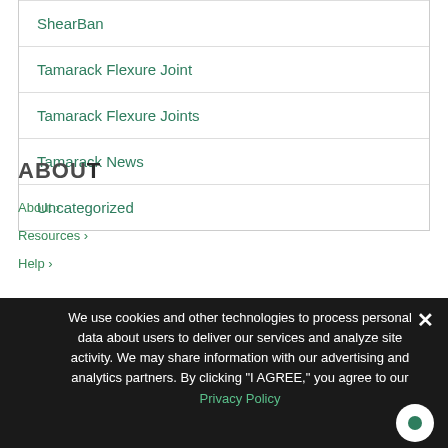ShearBan
Tamarack Flexure Joint
Tamarack Flexure Joints
Tamarack News
Uncategorized
ABOUT
About ›
Resources ›
Help ›
We use cookies and other technologies to process personal data about users to deliver our services and analyze site activity. We may share information with our advertising and analytics partners. By clicking "I AGREE," you agree to our Privacy Policy